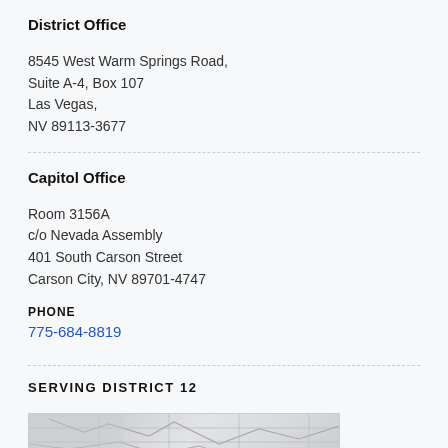District Office
8545 West Warm Springs Road,
Suite A-4, Box 107
Las Vegas,
NV 89113-3677
Capitol Office
Room 3156A
c/o Nevada Assembly
401 South Carson Street
Carson City, NV 89701-4747
PHONE
775-684-8819
SERVING DISTRICT 12
[Figure (map): Map showing District 12 area]